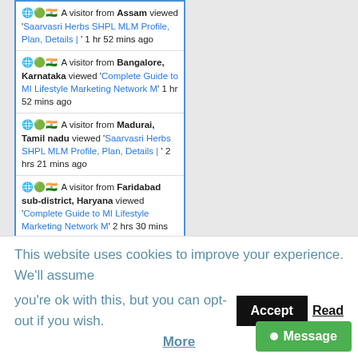A visitor from Assam viewed 'Saarvasri Herbs SHPL MLM Profile, Plan, Details | ' 1 hr 52 mins ago
A visitor from Bangalore, Karnataka viewed 'Complete Guide to MI Lifestyle Marketing Network M' 1 hr 52 mins ago
A visitor from Madurai, Tamil nadu viewed 'Saarvasri Herbs SHPL MLM Profile, Plan, Details | ' 2 hrs 21 mins ago
A visitor from Faridabad sub-district, Haryana viewed 'Complete Guide to MI Lifestyle Marketing Network M' 2 hrs 30 mins ago
Real-time | Get Script | More Info
[Figure (photo): Yellow banner with large black bold text showing 'OUR']
This website uses cookies to improve your experience. We'll assume you're ok with this, but you can opt-out if you wish. Accept Read More Message